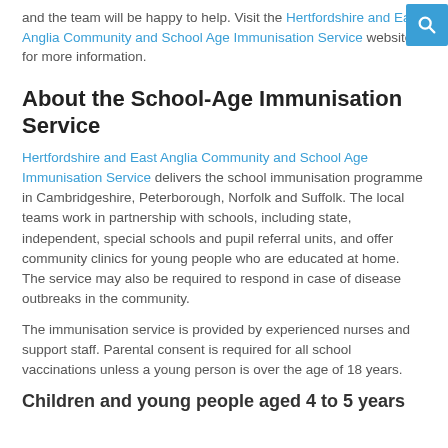and the team will be happy to help. Visit the Hertfordshire and East Anglia Community and School Age Immunisation Service website for more information.
About the School-Age Immunisation Service
Hertfordshire and East Anglia Community and School Age Immunisation Service delivers the school immunisation programme in Cambridgeshire, Peterborough, Norfolk and Suffolk. The local teams work in partnership with schools, including state, independent, special schools and pupil referral units, and offer community clinics for young people who are educated at home. The service may also be required to respond in case of disease outbreaks in the community.
The immunisation service is provided by experienced nurses and support staff. Parental consent is required for all school vaccinations unless a young person is over the age of 18 years.
Children and young people aged 4 to 5 years